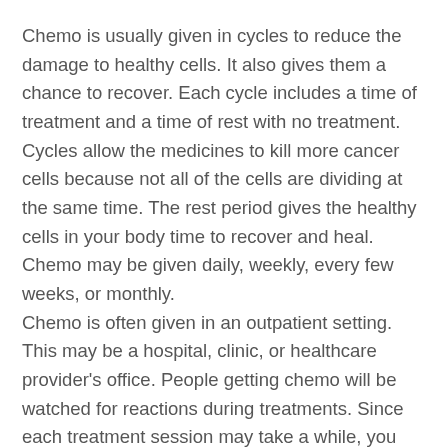Chemo is usually given in cycles to reduce the damage to healthy cells. It also gives them a chance to recover. Each cycle includes a time of treatment and a time of rest with no treatment. Cycles allow the medicines to kill more cancer cells because not all of the cells are dividing at the same time. The rest period gives the healthy cells in your body time to recover and heal. Chemo may be given daily, weekly, every few weeks, or monthly.
Chemo is often given in an outpatient setting. This may be a hospital, clinic, or healthcare provider's office. People getting chemo will be watched for reactions during treatments. Since each treatment session may take a while, you are encouraged to bring along something that is comforting, such as music to listen to. It's also advised to bring something to help pass the time, such as a deck of cards or a book. Since it's hard to predict how you will feel after chemo, it's important to have someone drive you to and from the treatment the first few times.